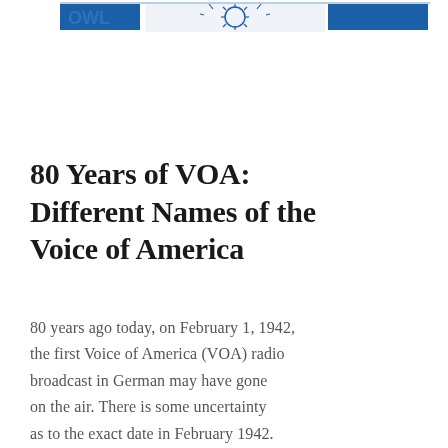[Figure (other): Partial VOA (Voice of America) logo banner showing blue and white design elements with eagle/sun imagery, cropped at top of page]
80 Years of VOA: Different Names of the Voice of America
80 years ago today, on February 1, 1942, the first Voice of America (VOA) radio broadcast in German may have gone on the air. There is some uncertainty as to the exact date in February 1942. Moreover, for the first several years, the name…